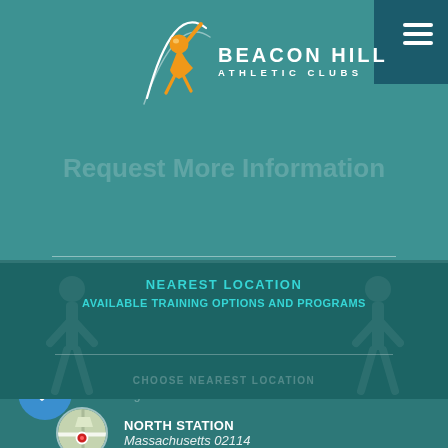[Figure (logo): Beacon Hill Athletic Clubs logo with orange figure and BEACON HILL ATHLETIC CLUBS text]
Request More Information
NEAREST LOCATION
AVAILABLE TRAINING OPTIONS AND PROGRAMS
CHOOSE NEAREST LOCATION
NORTH STATION
Massachusetts 02114
BROOKLINE VILLAGE
Massachusetts 02445
CLEVELAND CIRCLE
Massachusetts 02135
NORTH END WATERFRONT
Massachusetts 02109
WELLESLEY